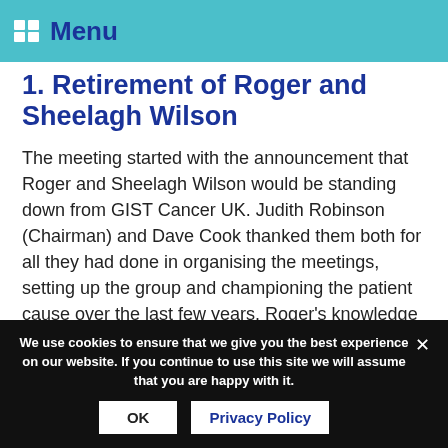Menu
1. Retirement of Roger and Sheelagh Wilson
The meeting started with the announcement that Roger and Sheelagh Wilson would be standing down from GIST Cancer UK. Judith Robinson (Chairman) and Dave Cook thanked them both for all they had done in organising the meetings, setting up the group and championing the patient cause over the last few years. Roger's knowledge has been significant
We use cookies to ensure that we give you the best experience on our website. If you continue to use this site we will assume that you are happy with it.
OK
Privacy Policy